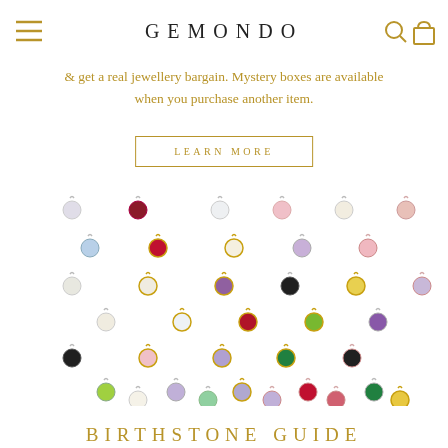GEMONDO
& get a real jewellery bargain. Mystery boxes are available when you purchase another item.
LEARN MORE
[Figure (photo): Collection of colourful gemstone charm pendants arranged in a triangular/diamond pattern on white background, featuring various birthstone colours in silver and gold settings]
BIRTHSTONE GUIDE